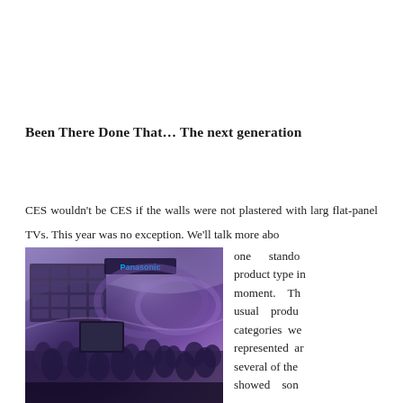Been There Done That… The next generation
CES wouldn't be CES if the walls were not plastered with large flat-panel TVs. This year was no exception. We'll talk more about one standout product type in a moment. The usual product categories were represented and several of the showed son
[Figure (photo): Crowded CES exhibition hall with Panasonic booth, large TV displays on walls, purple lighting, many attendees]